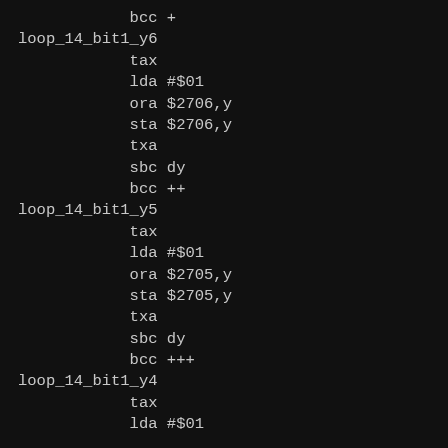bcc +
loop_14_bit1_y6
            tax
            lda #$01
            ora $2706,y
            sta $2706,y
            txa
            sbc dy
            bcc ++
loop_14_bit1_y5
            tax
            lda #$01
            ora $2705,y
            sta $2705,y
            txa
            sbc dy
            bcc +++
loop_14_bit1_y4
            tax
            lda #$01